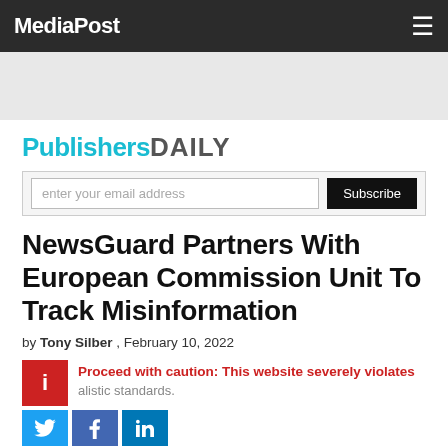MediaPost
[Figure (other): Gray banner/advertisement area]
Publishers DAILY
enter your email address  Subscribe
NewsGuard Partners With European Commission Unit To Track Misinformation
by Tony Silber , February 10, 2022
Proceed with caution: This website severely violates journalistic standards.